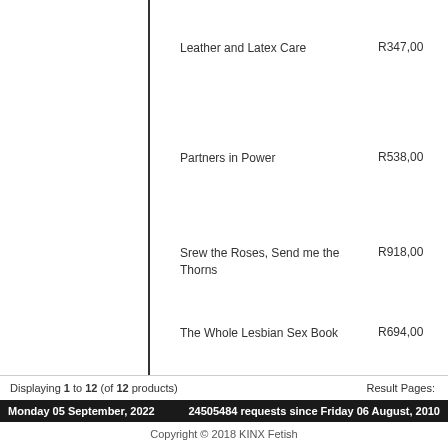Leather and Latex Care  R347,00
Partners in Power  R538,00
Srew the Roses, Send me the Thorns  R918,00
The Whole Lesbian Sex Book  R694,00
Displaying 1 to 12 (of 12 products)
Result Pages:
Monday 05 September, 2022   24505484 requests since Friday 06 August, 2010
Copyright © 2018 KINX Fetish